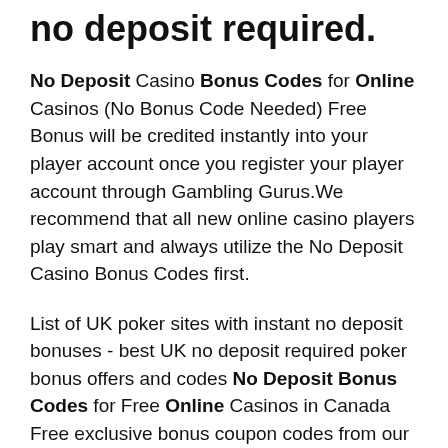no deposit required.
No Deposit Casino Bonus Codes for Online Casinos (No Bonus Code Needed) Free Bonus will be credited instantly into your player account once you register your player account through Gambling Gurus.We recommend that all new online casino players play smart and always utilize the No Deposit Casino Bonus Codes first.
List of UK poker sites with instant no deposit bonuses - best UK no deposit required poker bonus offers and codes No Deposit Bonus Codes for Free Online Casinos in Canada Free exclusive bonus coupon codes from our no deposit casino bonus list. Best mobile & desktop signup offers. No deposits required for Canadian online casinos. Online Poker No Deposit